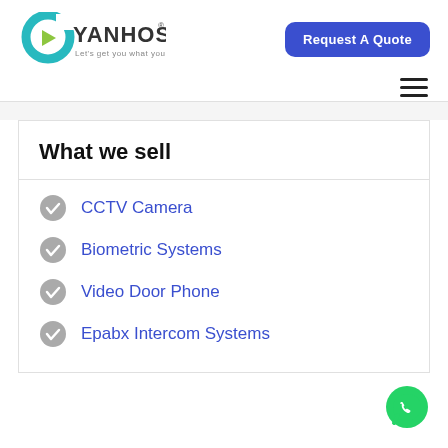[Figure (logo): GyanHost logo with teal G, green play arrow, and tagline 'Let's get you what you need']
Request A Quote
[Figure (other): Hamburger menu icon (three horizontal lines)]
What we sell
CCTV Camera
Biometric Systems
Video Door Phone
Epabx Intercom Systems
[Figure (other): WhatsApp floating action button (green circle with phone handset icon)]